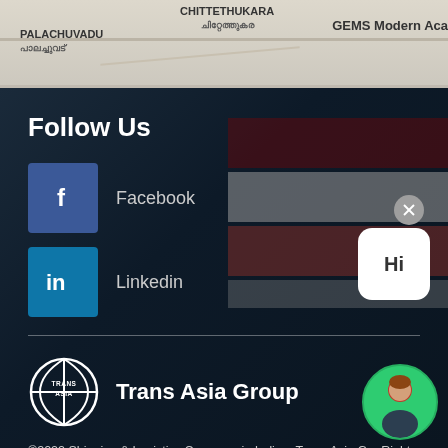[Figure (map): Google Maps snippet showing PALACHUVADU / പാലച്ചുവട്, CHITTETHUKARA / ചിറ്റേത്തുകര, and GEMS Modern Academy labels]
Follow Us
Facebook
Linkedin
[Figure (logo): Trans Asia Group circular logo with basketball-style lines and text TRANS ASIA]
Trans Asia Group
©2022 Shipping & Logistics Company in India – Trans Asia G... Rights Reserved.
Website Designed and Developed by Zinam Technologies